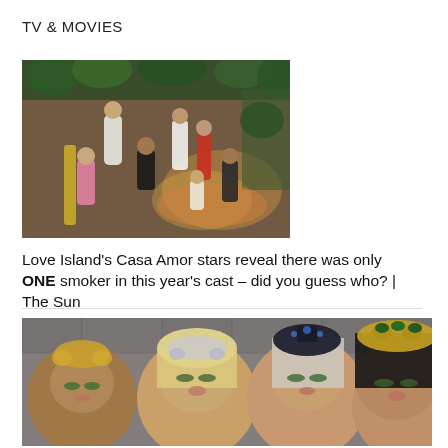TV & MOVIES
[Figure (photo): Group of people standing and sitting in a tropical outdoor setting from Love Island's Casa Amor]
Love Island’s Casa Amor stars reveal there was only ONE smoker in this year’s cast – did you guess who? | The Sun
[Figure (photo): Four women in glamorous costumes and ornate headpieces posing for a selfie]